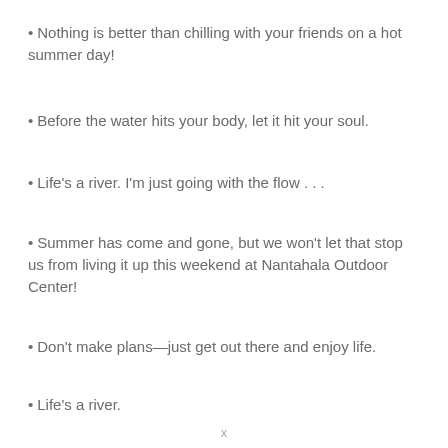Nothing is better than chilling with your friends on a hot summer day!
Before the water hits your body, let it hit your soul.
Life’s a river. I’m just going with the flow . . .
Summer has come and gone, but we won’t let that stop us from living it up this weekend at Nantahala Outdoor Center!
Don't make plans—just get out there and enjoy life.
Life’s a river.
x